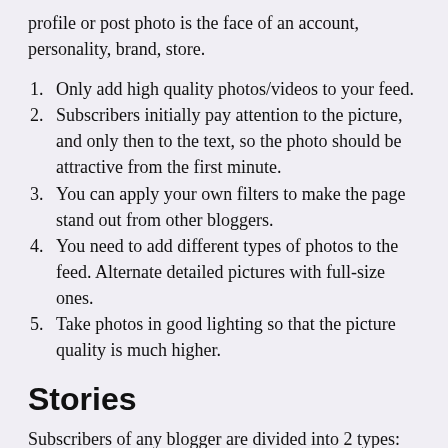profile or post photo is the face of an account, personality, brand, store.
Only add high quality photos/videos to your feed.
Subscribers initially pay attention to the picture, and only then to the text, so the photo should be attractive from the first minute.
You can apply your own filters to make the page stand out from other bloggers.
You need to add different types of photos to the feed. Alternate detailed pictures with full-size ones.
Take photos in good lighting so that the picture quality is much higher.
Stories
Subscribers of any blogger are divided into 2 types: